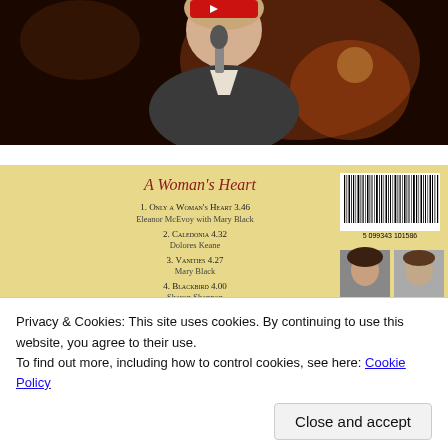[Figure (photo): Person singing into a microphone, dark background with warm bokeh lighting. A red play button overlay is partially visible at top.]
[Figure (photo): CD back cover of 'A Woman's Heart' album on yellow/cream background with track listing, barcode (5 099343 101586), and two small portrait photos of female artists on the right.]
Privacy & Cookies: This site uses cookies. By continuing to use this website, you agree to their use.
To find out more, including how to control cookies, see here: Cookie Policy
Close and accept